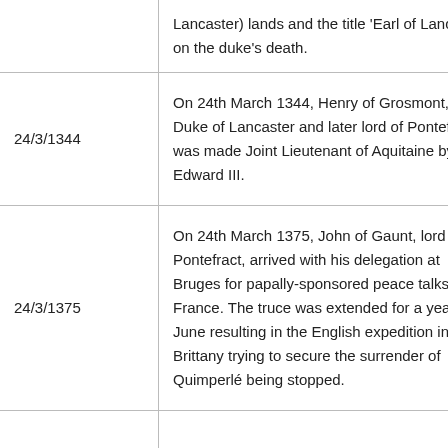| Date | Event |
| --- | --- |
|  | Lancaster) lands and the title ‘Earl of Lancaster’ on the duke’s death. |
| 24/3/1344 | On 24th March 1344, Henry of Grosmont, 1st Duke of Lancaster and later lord of Pontefract, was made Joint Lieutenant of Aquitaine by Edward III. |
| 24/3/1375 | On 24th March 1375, John of Gaunt, lord of Pontefract, arrived with his delegation at Bruges for papally-sponsored peace talks with France. The truce was extended for a year in June resulting in the English expedition in Brittany trying to secure the surrender of Quimperlé being stopped. |
|  |  |